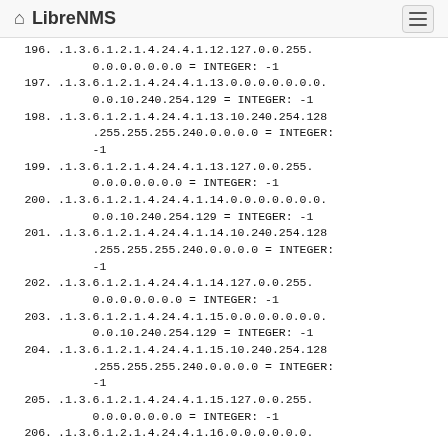LibreNMS
196. .1.3.6.1.2.1.4.24.4.1.12.127.0.0.255.0.0.0.0.0.0.0 = INTEGER: -1
197. .1.3.6.1.2.1.4.24.4.1.13.0.0.0.0.0.0.0.0.0.10.240.254.129 = INTEGER: -1
198. .1.3.6.1.2.1.4.24.4.1.13.10.240.254.128.255.255.255.240.0.0.0.0 = INTEGER: -1
199. .1.3.6.1.2.1.4.24.4.1.13.127.0.0.255.0.0.0.0.0.0.0 = INTEGER: -1
200. .1.3.6.1.2.1.4.24.4.1.14.0.0.0.0.0.0.0.0.0.10.240.254.129 = INTEGER: -1
201. .1.3.6.1.2.1.4.24.4.1.14.10.240.254.128.255.255.255.240.0.0.0.0 = INTEGER: -1
202. .1.3.6.1.2.1.4.24.4.1.14.127.0.0.255.0.0.0.0.0.0.0 = INTEGER: -1
203. .1.3.6.1.2.1.4.24.4.1.15.0.0.0.0.0.0.0.0.0.10.240.254.129 = INTEGER: -1
204. .1.3.6.1.2.1.4.24.4.1.15.10.240.254.128.255.255.255.240.0.0.0.0 = INTEGER: -1
205. .1.3.6.1.2.1.4.24.4.1.15.127.0.0.255.0.0.0.0.0.0.0 = INTEGER: -1
206. .1.3.6.1.2.1.4.24.4.1.16.0.0.0.0.0.0.